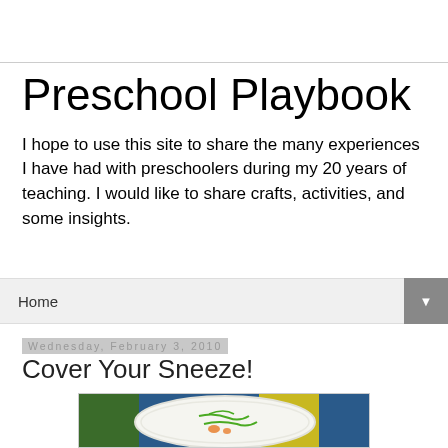Preschool Playbook
I hope to use this site to share the many experiences I have had with preschoolers during my 20 years of teaching. I would like to share crafts, activities, and some insights.
Home
Wednesday, February 3, 2010
Cover Your Sneeze!
[Figure (photo): A paper plate with green paint lines and orange paint marks drawn on it, resembling a sneeze craft activity, placed on a colorful background of green, blue, and yellow.]